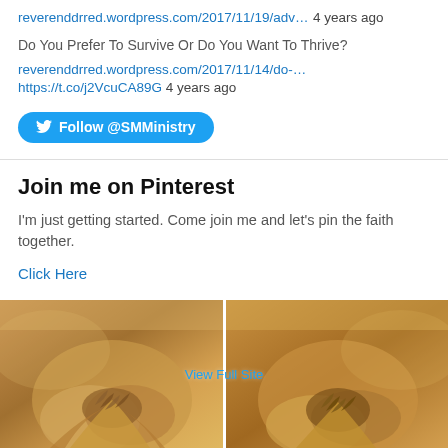reverenddrred.wordpress.com/2017/11/19/adv… 4 years ago
Do You Prefer To Survive Or Do You Want To Thrive?
reverenddrred.wordpress.com/2017/11/14/do-…
https://t.co/j2VcuCA89G 4 years ago
[Figure (other): Twitter Follow @SMMinistry button]
Join me on Pinterest
I'm just getting started. Come join me and let's pin the faith together.
Click Here
[Figure (photo): Two panels showing person with hands clasped in prayer, wearing beige/tan robe, with 'View Full Site' link overlay in the center]